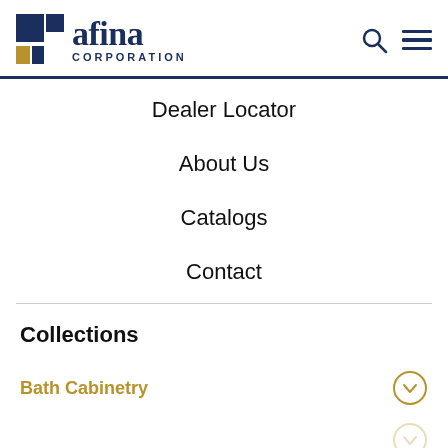[Figure (logo): Afina Corporation logo with geometric icon (blue square and gold rectangle motif) and text 'afina CORPORATION' in navy blue]
Dealer Locator
About Us
Catalogs
Contact
Collections
Bath Cabinetry